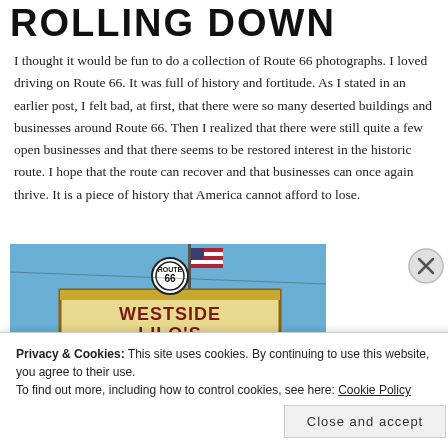ROLLING DOWN ROUTE 66
I thought it would be fun to do a collection of Route 66 photographs.  I loved driving on Route 66.  It was full of history and fortitude.  As I stated in an earlier post, I felt bad, at first, that there were so many deserted buildings and businesses around Route 66.  Then I realized that there were still quite a few open businesses and that there seems to be restored interest in the historic route.  I hope that the route can recover and that businesses can once again thrive.  It is a piece of history that America cannot afford to lose.
[Figure (photo): Photograph of a Westside Lilo's Cafe sign with a Route 66 badge on top and an American flag, set against a blue sky]
Privacy & Cookies: This site uses cookies. By continuing to use this website, you agree to their use.
To find out more, including how to control cookies, see here: Cookie Policy
Close and accept